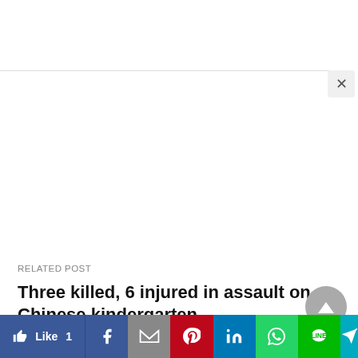[Figure (screenshot): Browser UI screenshot showing a modal/popup overlay area with a close (X) button in the top-right corner, over a white background.]
RELATED POST
Three killed, 6 injured in assault on Chinese kindergarten
[Figure (other): Gray circular scroll-to-top button with upward triangle arrow icon.]
[Figure (other): Social media share bar with Like 1 (Facebook), Facebook, Gmail/M, Pinterest, LinkedIn, WhatsApp, Line, and a send/navigation button.]